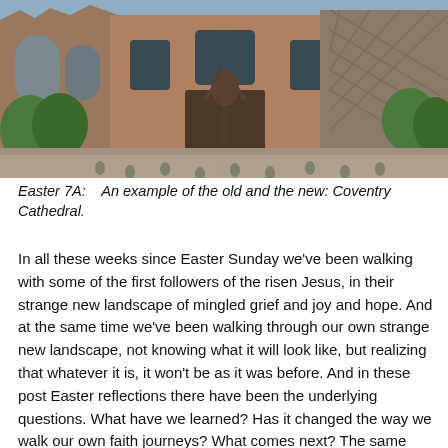[Figure (photo): Exterior photograph of Coventry Cathedral showing the old ruined sandstone walls alongside the new cathedral building, with trees and stone bollards in the foreground.]
Easter 7A:   An example of the old and the new: Coventry Cathedral.
In all these weeks since Easter Sunday we've been walking with some of the first followers of the risen Jesus, in their strange new landscape of mingled grief and joy and hope. And at the same time we've been walking through our own strange new landscape, not knowing what it will look like, but realizing that whatever it is, it won't be as it was before. And in these post Easter reflections there have been the underlying questions. What have we learned? Has it changed the way we walk our own faith journeys? What comes next? The same questions, I'm sure, that those long ago first Christians asked themselves. Next week we will